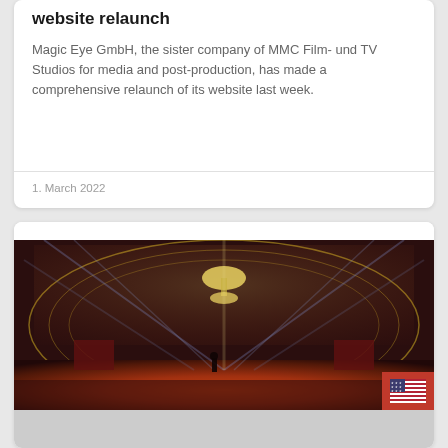website relaunch
Magic Eye GmbH, the sister company of MMC Film- und TV Studios for media and post-production, has made a comprehensive relaunch of its website last week.
1. March 2022
[Figure (photo): Concert or TV show stage with dramatic lighting, chandeliers, and colorful LED backdrop panels, viewed from audience perspective.]